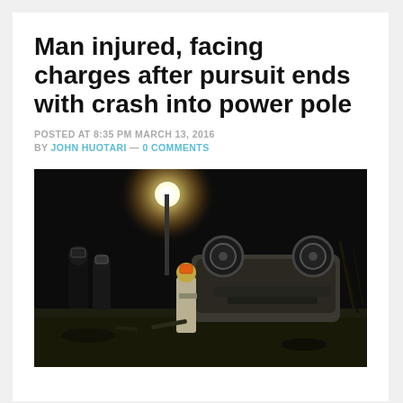Man injured, facing charges after pursuit ends with crash into power pole
POSTED AT 8:35 PM MARCH 13, 2016
BY JOHN HUOTARI — 0 COMMENTS
[Figure (photo): Night-time photo of an overturned vehicle at a crash scene with rescue workers in hard hats and a bright work light illuminating the scene]